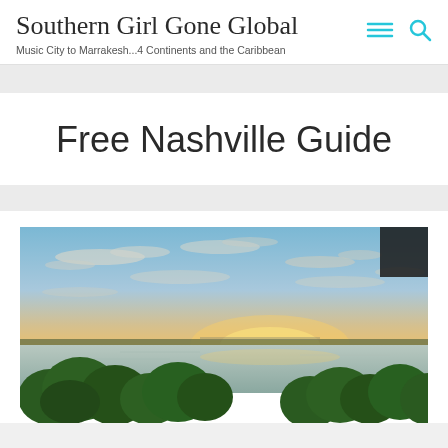Southern Girl Gone Global
Music City to Marrakesh...4 Continents and the Caribbean
Free Nashville Guide
[Figure (photo): Panoramic sunset photo over a lake or river with colorful sky and green trees in the foreground, viewed from an elevated vantage point.]